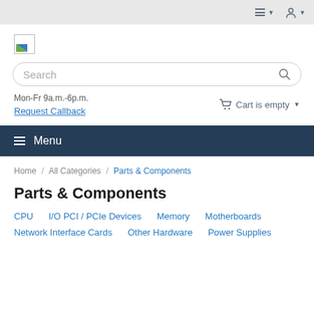Navigation bar with hamburger menu and user icon
[Figure (logo): Small document/image placeholder logo icon]
Search
Mon-Fr 9a.m.-6p.m.
Request Callback
Cart is empty
Menu
Home / All Categories / Parts & Components
Parts & Components
CPU   I/O PCI / PCIe Devices   Memory   Motherboards
Network Interface Cards   Other Hardware   Power Supplies